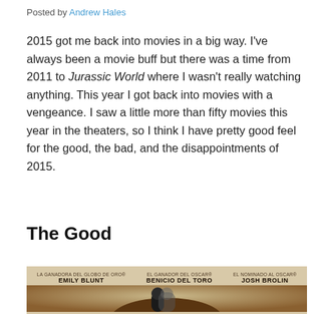Posted by Andrew Hales
2015 got me back into movies in a big way. I've always been a movie buff but there was a time from 2011 to Jurassic World where I wasn't really watching anything. This year I got back into movies with a vengeance. I saw a little more than fifty movies this year in the theaters, so I think I have pretty good feel for the good, the bad, and the disappointments of 2015.
The Good
[Figure (photo): Movie poster for Sicario featuring Emily Blunt, Benicio Del Toro, and Josh Brolin with Spanish text credits at the top and a dark desert scene below]